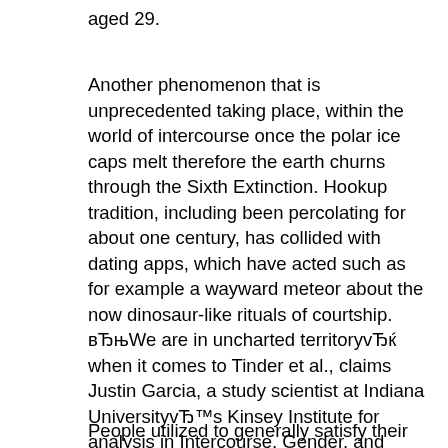aged 29.
Another phenomenon that is unprecedented taking place, within the world of intercourse once the polar ice caps melt therefore the earth churns through the Sixth Extinction. Hookup tradition, including been percolating for about one century, has collided with dating apps, which have acted such as for example a wayward meteor about the now dinosaur-like rituals of courtship. вЂњWe are in uncharted territoryvЂќ when it comes to Tinder et al., claims Justin Garcia, a study scientist at Indiana UniversityvЂ™s Kinsey Institute for analysis in Intercourse, Gender, and Reproduction. вЂњThere have already been two major transitionsvЂќ in heterosexual mating вЂњin the last four million years, вЂќ he claims. вЂњThe first wound up being around 10,000 to 15,000 years right straight back, in the revolution that is agricultural once we became less migratory and more settled, вЂќ leading to the establishment of wedding being truly a agreement that is social. вЂњAnd the following change that is major using the increase about the online. вЂќ
People utilized to generally satisfy their enthusiasts through proximity, through family and friends, but now